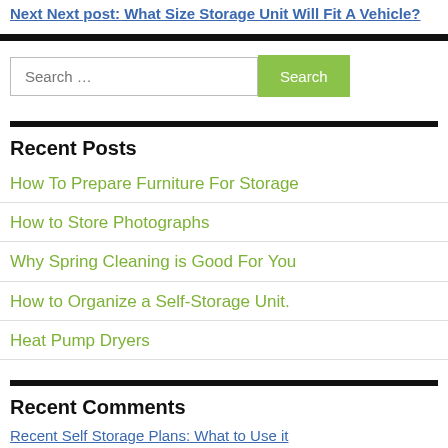Next Next post: What Size Storage Unit Will Fit A Vehicle?
Search …
Recent Posts
How To Prepare Furniture For Storage
How to Store Photographs
Why Spring Cleaning is Good For You
How to Organize a Self-Storage Unit.
Heat Pump Dryers
Recent Comments
Recent Self Storage Plans: What to Use it